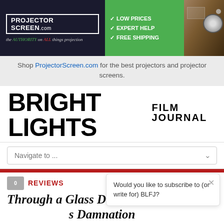[Figure (screenshot): ProjectorScreen.com advertisement banner with logo, checkmark list (Low Prices, Expert Help, Free Shipping) and projector image]
Shop ProjectorScreen.com for the best projectors and projector screens.
BRIGHT LIGHTS FILM JOURNAL
Navigate to ...
REVIEWS
Through a Glass Darkly, On Damnation's Damnation
Ela Bittencourt   April 30, 2012
41
Would you like to subscribe to (or write for) BLFJ?